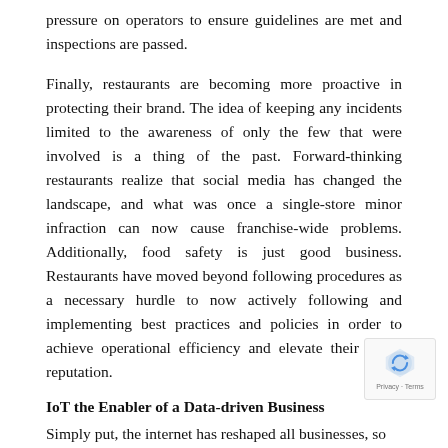pressure on operators to ensure guidelines are met and inspections are passed.
Finally, restaurants are becoming more proactive in protecting their brand. The idea of keeping any incidents limited to the awareness of only the few that were involved is a thing of the past. Forward-thinking restaurants realize that social media has changed the landscape, and what was once a single-store minor infraction can now cause franchise-wide problems. Additionally, food safety is just good business. Restaurants have moved beyond following procedures as a necessary hurdle to now actively following and implementing best practices and policies in order to achieve operational efficiency and elevate their brand reputation.
IoT the Enabler of a Data-driven Business
Simply put, the internet has reshaped all businesses, so